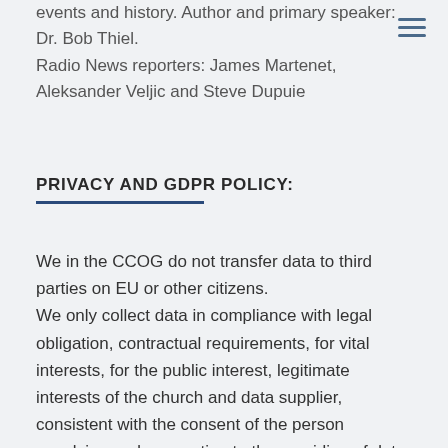events and history. Author and primary speaker: Dr. Bob Thiel. Radio News reporters: James Martenet, Aleksander Veljic and Steve Dupuie
PRIVACY AND GDPR POLICY:
We in the CCOG do not transfer data to third parties on EU or other citizens. We only collect data in compliance with legal obligation, contractual requirements, for vital interests, for the public interest, legitimate interests of the church and data supplier, consistent with the consent of the person supplying and consenting to the providing of data.